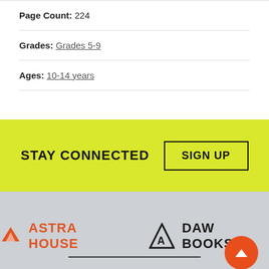Page Count: 224
Grades: Grades 5-9
Ages: 10-14 years
STAY CONNECTED  SIGN UP
[Figure (logo): Astra House logo in orange and DAW Books logo in black, on gray background]